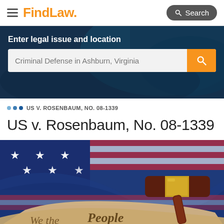FindLaw — Search
Enter legal issue and location
Criminal Defense in Ashburn, Virginia
US V. ROSENBAUM, NO. 08-1339
US v. Rosenbaum, No. 08-1339
[Figure (photo): American flag with stars and a judge's gavel resting on a rolled document with 'We the People' text]